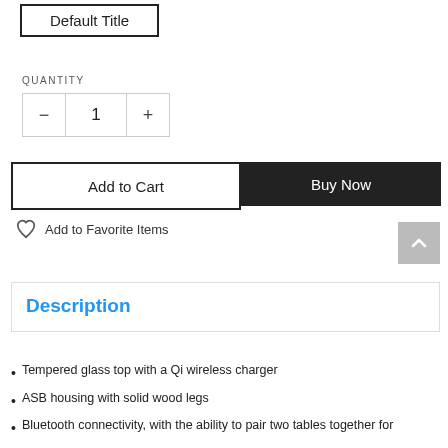Default Title
QUANTITY
1
Add to Cart
Buy Now
Add to Favorite Items
Description
Tempered glass top with a Qi wireless charger
ASB housing with solid wood legs
Bluetooth connectivity, with the ability to pair two tables together for